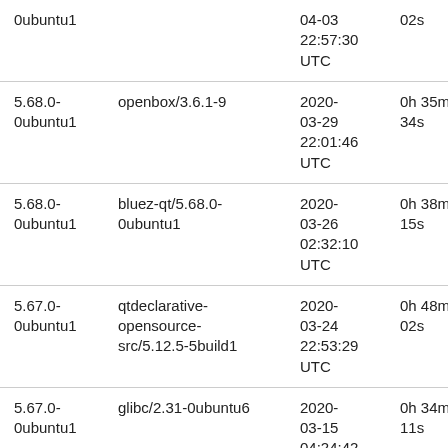| 0ubuntu1 |  | 04-03 22:57:30 UTC | 02s | - |
| 5.68.0-0ubuntu1 | openbox/3.6.1-9 | 2020-03-29 22:01:46 UTC | 0h 35m 34s | - |
| 5.68.0-0ubuntu1 | bluez-qt/5.68.0-0ubuntu1 | 2020-03-26 02:32:10 UTC | 0h 38m 15s | - |
| 5.67.0-0ubuntu1 | qtdeclarative-opensource-src/5.12.5-5build1 | 2020-03-24 22:53:29 UTC | 0h 48m 02s | - |
| 5.67.0-0ubuntu1 | glibc/2.31-0ubuntu6 | 2020-03-15 04:24:42 UTC | 0h 34m 11s | - |